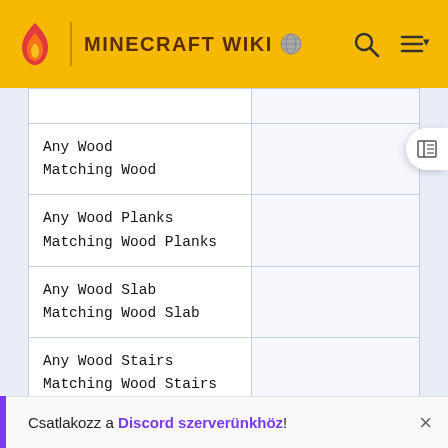MINECRAFT WIKI
|  |  |
| --- | --- |
| Any Wood
Matching Wood |  |
| Any Wood Planks
Matching Wood Planks |  |
| Any Wood Slab
Matching Wood Slab |  |
| Any Wood Stairs
Matching Wood Stairs |  |
| Any Wool
Matching Wool |  |
|  |  |
Csatlakozz a Discord szerverünkhöz!